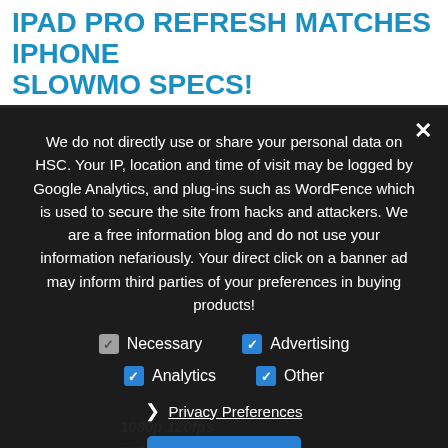IPAD PRO REFRESH MATCHES IPHONE SLOWMO SPECS!
JUNE 13, 2017   LEAVE A COMMENT
We do not directly use or share your personal data on HSC. Your IP, location and time of visit may be logged by Google Analytics, and plug-ins such as WordFence which is used to secure the site from hacks and attackers. We are a free information blog and do not use your information nefariously. Your direct click on a banner ad may inform third parties of your preferences in buying products!
Necessary   Advertising   Analytics   Other
Privacy Preferences
I Agree
The newly released iPad Pro 2017 refreshes both 10.5 and 12.9 inches share a new camera module that really is a direct transfer from the iPhone 7 Plus for Apple to offer their best camera yet in the best iPad they have ever built when it comes to performance. However, you will not get anything in the camera department that makes the iPad Pro…